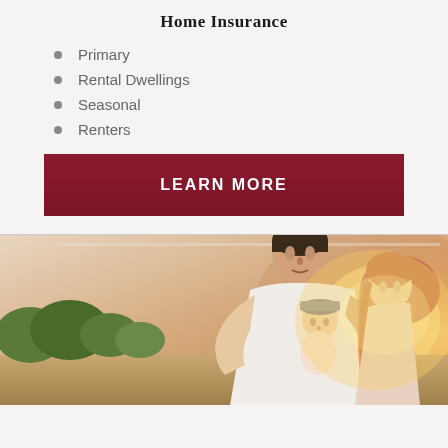Home Insurance
Primary
Rental Dwellings
Seasonal
Renters
LEARN MORE
[Figure (photo): A family photo showing a man in a white t-shirt, a woman with long hair, and a baby wearing a grey hat, photographed outdoors at golden hour with warm sunlight and green trees in the background.]